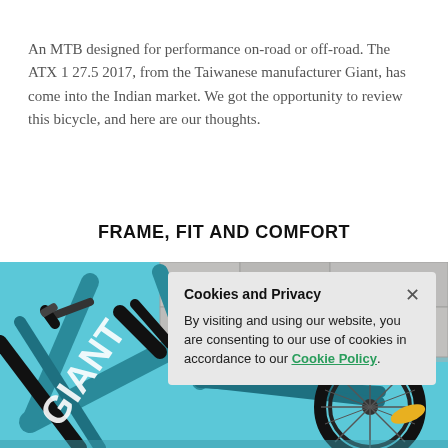An MTB designed for performance on-road or off-road. The ATX 1 27.5 2017, from the Taiwanese manufacturer Giant, has come into the Indian market. We got the opportunity to review this bicycle, and here are our thoughts.
FRAME, FIT AND COMFORT
[Figure (photo): Close-up photo of a teal/blue Giant ATX mountain bike frame and wheel, leaning against a stone wall. The word GIANT is visible on the frame in white lettering.]
Cookies and Privacy
By visiting and using our website, you are consenting to our use of cookies in accordance to our Cookie Policy.